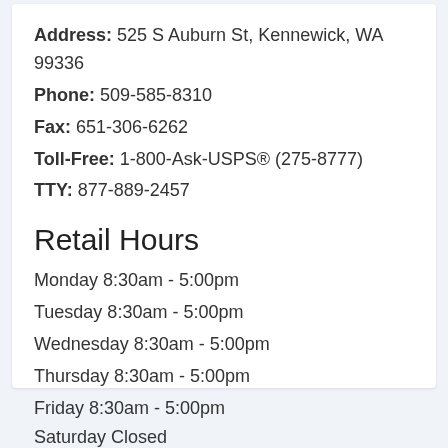Address: 525 S Auburn St, Kennewick, WA 99336
Phone: 509-585-8310
Fax: 651-306-6262
Toll-Free: 1-800-Ask-USPS® (275-8777)
TTY: 877-889-2457
Retail Hours
Monday 8:30am - 5:00pm
Tuesday 8:30am - 5:00pm
Wednesday 8:30am - 5:00pm
Thursday 8:30am - 5:00pm
Friday 8:30am - 5:00pm
Saturday Closed